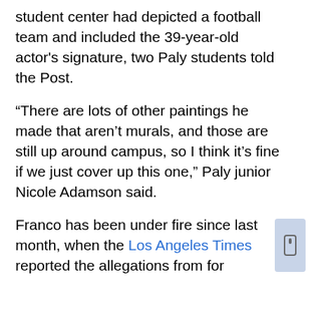student center had depicted a football team and included the 39-year-old actor's signature, two Paly students told the Post.
“There are lots of other paintings he made that aren’t murals, and those are still up around campus, so I think it’s fine if we just cover up this one,” Paly junior Nicole Adamson said.
Franco has been under fire since last month, when the Los Angeles Times reported the allegations from former...